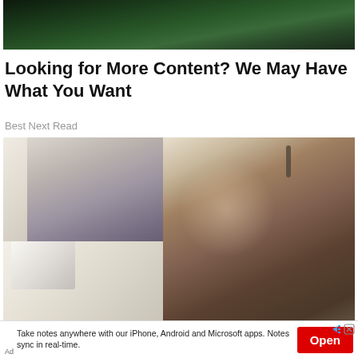[Figure (photo): Outdoor foliage / green leaves background photo cropped at top]
Looking for More Content? We May Have What You Want
Best Next Read
[Figure (photo): Two women working at a desk in an office; one in foreground wearing headset, writing; one in background using a laptop]
Take notes anywhere with our iPhone, Android and Microsoft apps. Notes sync in real-time.
Ad
Open